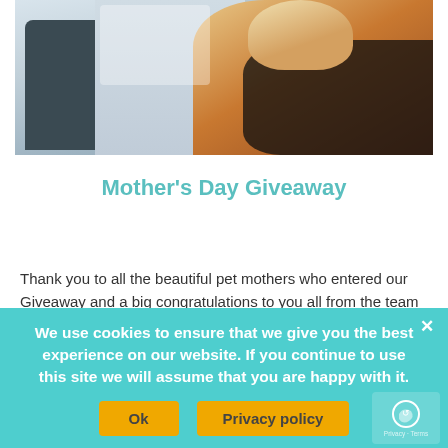[Figure (photo): A dog wearing a black harness seated in a car seat, viewed from a slight angle. The background shows car interior elements. The dog appears to be a beagle or similar breed.]
Mother's Day Giveaway
Thank you to all the beautiful pet mothers who entered our Giveaway and a big congratulations to you all from the team at Happers. We really enjoy seeing the beautiful stories your friends shared.
We use cookies to ensure that we give you the best experience on our website. If you continue to use this site we will assume that you are happy with it.
Ok   Privacy policy